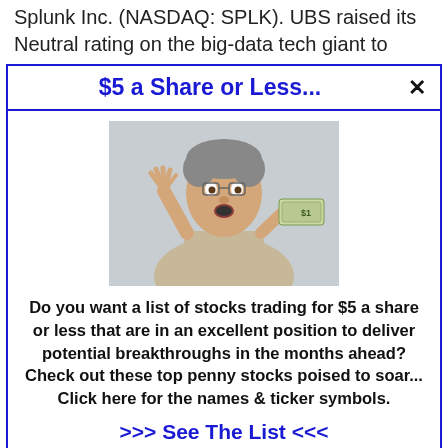Splunk Inc. (NASDAQ: SPLK). UBS raised its Neutral rating on the big-data tech giant to
$5 a Share or Less...
[Figure (photo): Middle-aged man with surprised expression holding a dollar bill with one hand raised]
Do you want a list of stocks trading for $5 a share or less that are in an excellent position to deliver potential breakthroughs in the months ahead? Check out these top penny stocks poised to soar... Click here for the names & ticker symbols.
>>> See The List <<<
premarket after a strong earnings report.